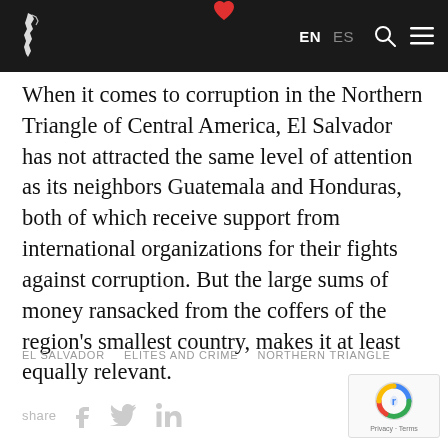EN ES [search] [menu]
When it comes to corruption in the Northern Triangle of Central America, El Salvador has not attracted the same level of attention as its neighbors Guatemala and Honduras, both of which receive support from international organizations for their fights against corruption. But the large sums of money ransacked from the coffers of the region's smallest country, makes it at least equally relevant.
EL SALVADOR   ELITES AND CRIME   NORTHERN TRIANGLE
share